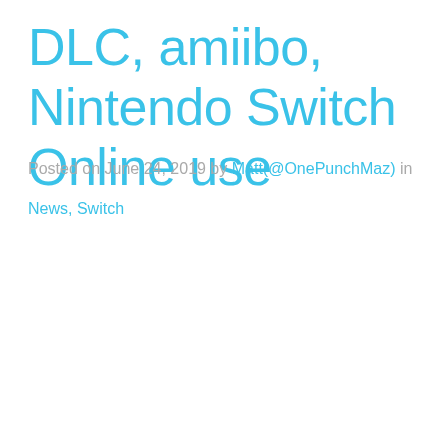DLC, amiibo, Nintendo Switch Online use
Posted on June 24, 2019 by Matt(@OnePunchMaz) in
News, Switch